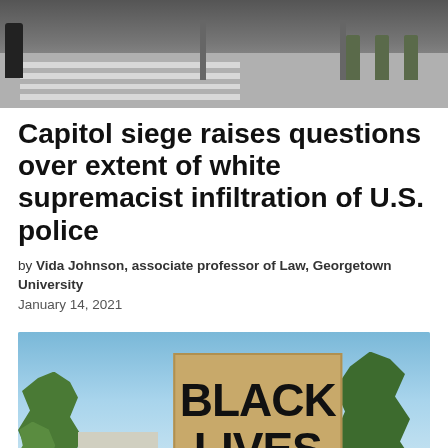[Figure (photo): Outdoor street scene showing a crosswalk, pavement, lamp posts, and soldiers or officers in the background]
Capitol siege raises questions over extent of white supremacist infiltration of U.S. police
by Vida Johnson, associate professor of Law, Georgetown University
January 14, 2021
[Figure (photo): Outdoor protest photo showing a cardboard sign reading 'BLACK LIVES' held up against a blue sky with trees in background]